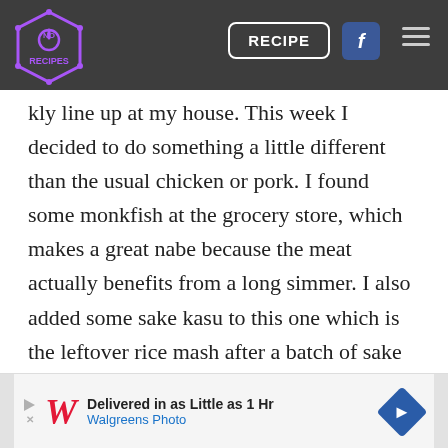No Recipes — RECIPE | Facebook | Menu
kly line up at my house. This week I decided to do something a little different than the usual chicken or pork. I found some monkfish at the grocery store, which makes a great nabe because the meat actually benefits from a long simmer. I also added some sake kasu to this one which is the leftover rice mash after a batch of sake has been filtered. If you've never had it before, it adds a wonderful earthy flavor while lending some sweetness and body to the soup.
[Figure (screenshot): Walgreens Photo advertisement banner: 'Delivered in as Little as 1 Hr / Walgreens Photo' with Walgreens cursive W logo and blue diamond navigation icon]